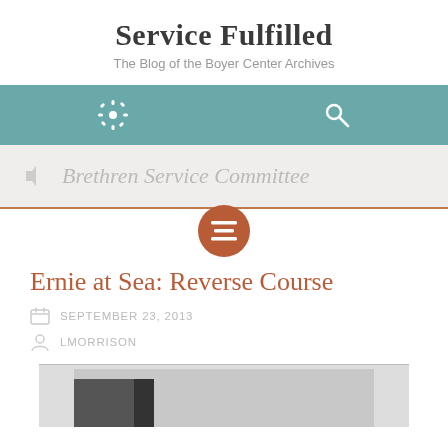Service Fulfilled
The Blog of the Boyer Center Archives
[Figure (screenshot): Teal navigation bar with gear icon on left and search icon on right]
Brethren Service Committee
[Figure (infographic): Rust-colored circular menu button icon with three horizontal lines]
Ernie at Sea: Reverse Course
SEPTEMBER 23, 2013
LMORRISON
[Figure (photo): Partial black and white photograph at bottom of page]